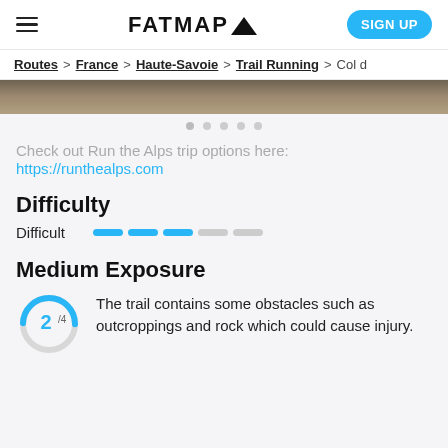FATMAP
Routes > France > Haute-Savoie > Trail Running > Col d…
[Figure (photo): Partial mountain trail photo strip at top of content]
Check out Run the Alps trip options here: https://runthealps.com
Difficulty
Difficult — 3 out of 5 difficulty bars filled
Medium Exposure
The trail contains some obstacles such as outcroppings and rock which could cause injury.